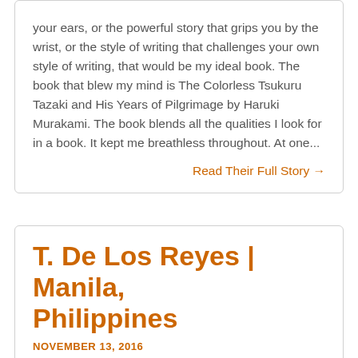your ears, or the powerful story that grips you by the wrist, or the style of writing that challenges your own style of writing, that would be my ideal book. The book that blew my mind is The Colorless Tsukuru Tazaki and His Years of Pilgrimage by Haruki Murakami. The book blends all the qualities I look for in a book. It kept me breathless throughout. At one...
Read Their Full Story →
T. De Los Reyes | Manila, Philippines
NOVEMBER 13, 2016
The first time I read Gertrude Stein's Tender Buttons, I was so exhilarated. She has such a linguistic...